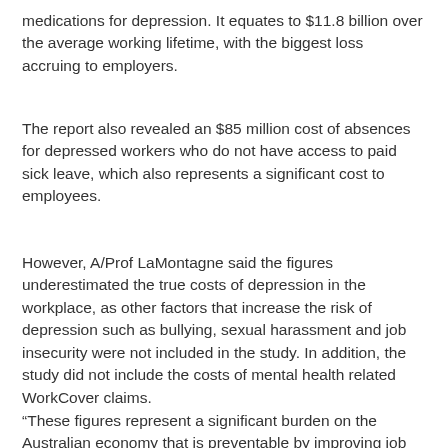medications for depression. It equates to $11.8 billion over the average working lifetime, with the biggest loss accruing to employers.
The report also revealed an $85 million cost of absences for depressed workers who do not have access to paid sick leave, which also represents a significant cost to employees.
However, A/Prof LaMontagne said the figures underestimated the true costs of depression in the workplace, as other factors that increase the risk of depression such as bullying, sexual harassment and job insecurity were not included in the study. In addition, the study did not include the costs of mental health related WorkCover claims.
“These figures represent a significant burden on the Australian economy that is preventable by improving job